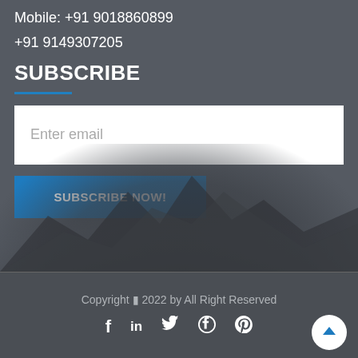Mobile: +91 9018860899
+91 9149307205
SUBSCRIBE
[Figure (screenshot): Email subscribe form with text input box showing placeholder 'Enter email' and a blue 'SUBSCRIBE NOW!' button]
[Figure (photo): Dark background with blurred mountain silhouette]
Copyright © 2022 by All Right Reserved
[Figure (other): Social media icons: Facebook (f), LinkedIn (in), Twitter (bird), Pinterest (P circle), and a back-to-top arrow button]